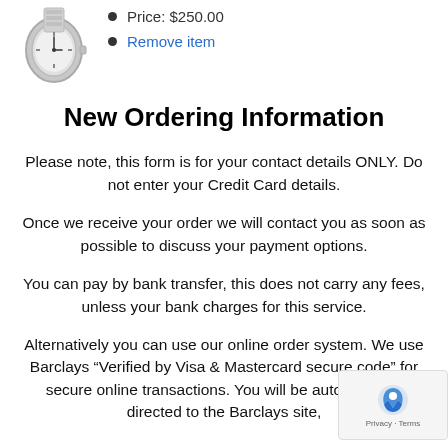[Figure (photo): Partial image of a wristwatch (silver/metallic) shown in upper left corner]
Price: $250.00
Remove item
New Ordering Information
Please note, this form is for your contact details ONLY. Do not enter your Credit Card details.
Once we receive your order we will contact you as soon as possible to discuss your payment options.
You can pay by bank transfer, this does not carry any fees, unless your bank charges for this service.
Alternatively you can use our online order system. We use Barclays “Verified by Visa & Mastercard secure code” for secure online transactions. You will be automatically directed to the Barclays site,